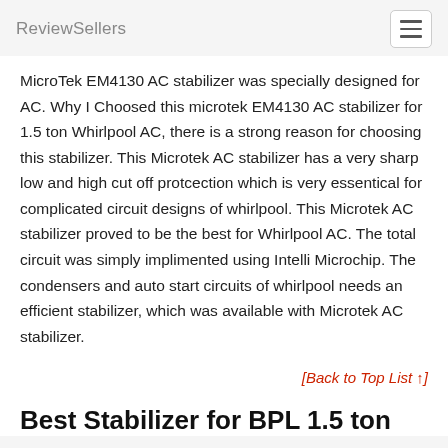ReviewSellers
MicroTek EM4130 AC stabilizer was specially designed for AC. Why I Choosed this microtek EM4130 AC stabilizer for 1.5 ton Whirlpool AC, there is a strong reason for choosing this stabilizer. This Microtek AC stabilizer has a very sharp low and high cut off protcection which is very essentical for complicated circuit designs of whirlpool. This Microtek AC stabilizer proved to be the best for Whirlpool AC. The total circuit was simply implimented using Intelli Microchip. The condensers and auto start circuits of whirlpool needs an efficient stabilizer, which was available with Microtek AC stabilizer.
[Back to Top List ↑]
Best Stabilizer for BPL 1.5 ton